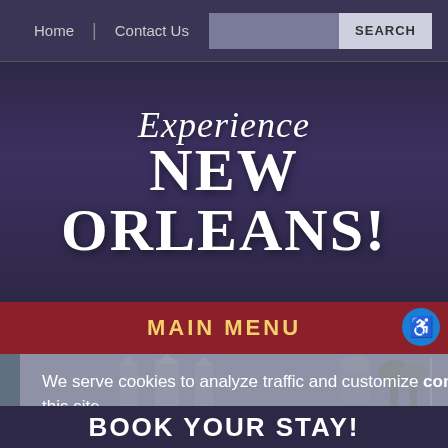Home | Contact Us  SEARCH
Experience NEW ORLEANS!
MAIN MENU
[Figure (screenshot): Background photo of New Orleans French Quarter with Saint Louis Cathedral visible]
We serve cookies to analyze traffic and customize content on this site.
Privacy Policy / GDPR - EU
Got it!
BOOK YOUR STAY!